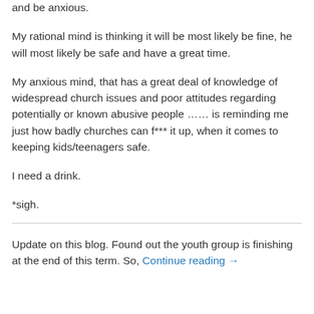and be anxious.
My rational mind is thinking it will be most likely be fine, he will most likely be safe and have a great time.
My anxious mind, that has a great deal of knowledge of widespread church issues and poor attitudes regarding potentially or known abusive people …… is reminding me just how badly churches can f*** it up, when it comes to keeping kids/teenagers safe.
I need a drink.
*sigh.
Update on this blog. Found out the youth group is finishing at the end of this term. So, Continue reading →